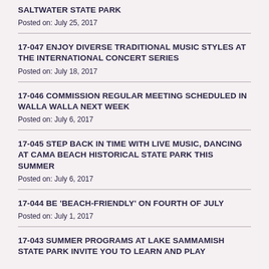SALTWATER STATE PARK
Posted on: July 25, 2017
17-047 ENJOY DIVERSE TRADITIONAL MUSIC STYLES AT THE INTERNATIONAL CONCERT SERIES
Posted on: July 18, 2017
17-046 COMMISSION REGULAR MEETING SCHEDULED IN WALLA WALLA NEXT WEEK
Posted on: July 6, 2017
17-045 STEP BACK IN TIME WITH LIVE MUSIC, DANCING AT CAMA BEACH HISTORICAL STATE PARK THIS SUMMER
Posted on: July 6, 2017
17-044 BE 'BEACH-FRIENDLY' ON FOURTH OF JULY
Posted on: July 1, 2017
17-043 SUMMER PROGRAMS AT LAKE SAMMAMISH STATE PARK INVITE YOU TO LEARN AND PLAY